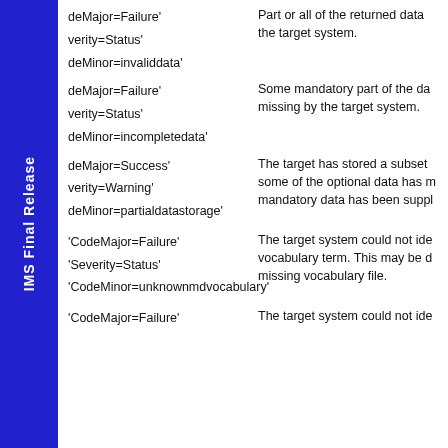deMajor=Failure'
verity=Status'
Part or all of the returned data the target system.
deMinor=invaliddata'
deMajor=Failure'
verity=Status'
Some mandatory part of the da missing by the target system.
deMinor=incompletedata'
deMajor=Success'
verity=Warning'
The target has stored a subset some of the optional data has m mandatory data has been suppl
deMinor=partialdatastorage'
'CodeMajor=Failure'
'Severity=Status'
The target system could not ide vocabulary term. This may be d missing vocabulary file.
'CodeMinor=unknownmdvocabulary'
'CodeMajor=Failure'
The target system could not ide